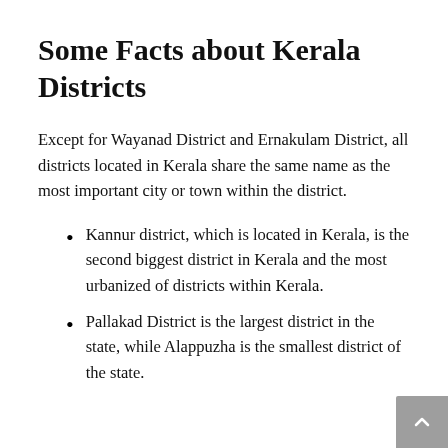Some Facts about Kerala Districts
Except for Wayanad District and Ernakulam District, all districts located in Kerala share the same name as the most important city or town within the district.
Kannur district, which is located in Kerala, is the second biggest district in Kerala and the most urbanized of districts within Kerala.
Pallakad District is the largest district in the state, while Alappuzha is the smallest district of the state.